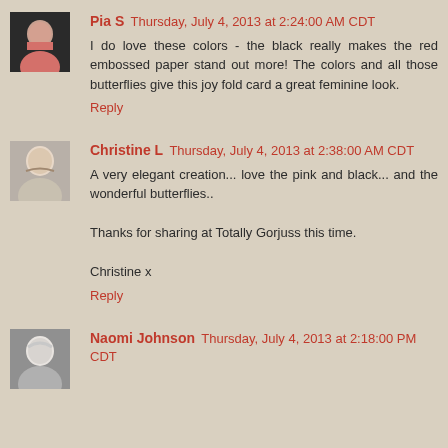Pia S  Thursday, July 4, 2013 at 2:24:00 AM CDT
I do love these colors - the black really makes the red embossed paper stand out more! The colors and all those butterflies give this joy fold card a great feminine look.
Reply
Christine L  Thursday, July 4, 2013 at 2:38:00 AM CDT
A very elegant creation... love the pink and black... and the wonderful butterflies..

Thanks for sharing at Totally Gorjuss this time.

Christine x
Reply
Naomi Johnson  Thursday, July 4, 2013 at 2:18:00 PM CDT